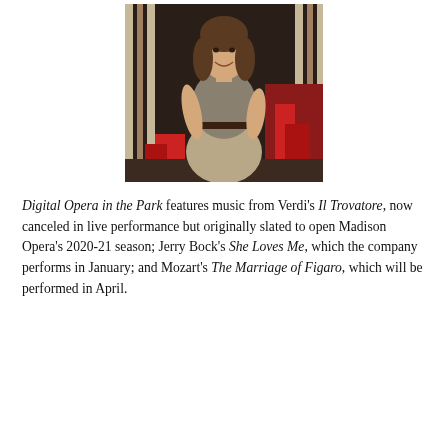[Figure (photo): A woman with brown hair smiling, wearing a sleeveless gray-brown dress with a dark belt, standing in front of a backdrop with ropes and red props.]
Digital Opera in the Park features music from Verdi's Il Trovatore, now canceled in live performance but originally slated to open Madison Opera's 2020-21 season; Jerry Bock's She Loves Me, which the company performs in January; and Mozart's The Marriage of Figaro, which will be performed in April.